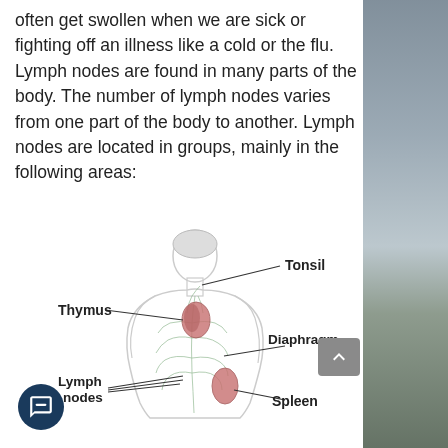often get swollen when we are sick or fighting off an illness like a cold or the flu. Lymph nodes are found in many parts of the body. The number of lymph nodes varies from one part of the body to another. Lymph nodes are located in groups, mainly in the following areas:
[Figure (illustration): Anatomical diagram of the human lymphatic system showing a female figure with labeled parts: Tonsil (upper right, near neck), Thymus (left, upper chest), Diaphragm (right, mid-torso), Lymph nodes (lower left, abdomen), and Spleen (lower right, abdomen). Lines point from labels to the respective anatomical locations.]